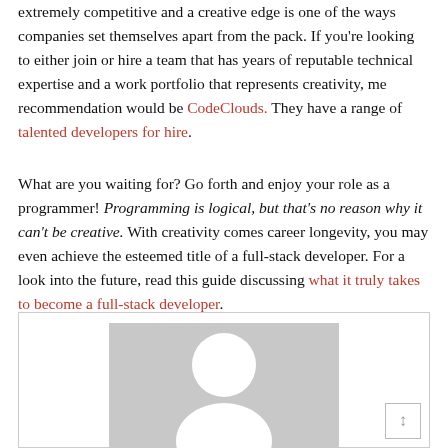extremely competitive and a creative edge is one of the ways companies set themselves apart from the pack. If you're looking to either join or hire a team that has years of reputable technical expertise and a work portfolio that represents creativity, me recommendation would be CodeClouds. They have a range of talented developers for hire.
What are you waiting for? Go forth and enjoy your role as a programmer! Programming is logical, but that's no reason why it can't be creative. With creativity comes career longevity, you may even achieve the esteemed title of a full-stack developer. For a look into the future, read this guide discussing what it truly takes to become a full-stack developer.
[Figure (illustration): A card/box with a generic user avatar placeholder image (grey background with a white silhouette of a person)]